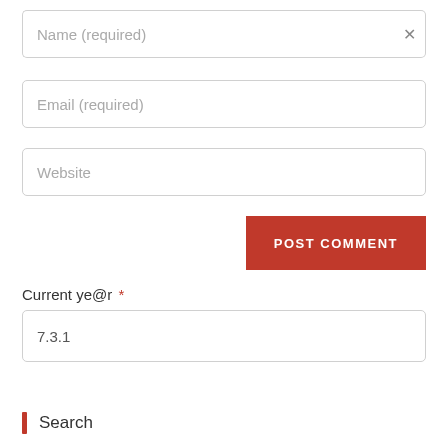Name (required)
Email (required)
Website
POST COMMENT
Current ye@r *
7.3.1
Search